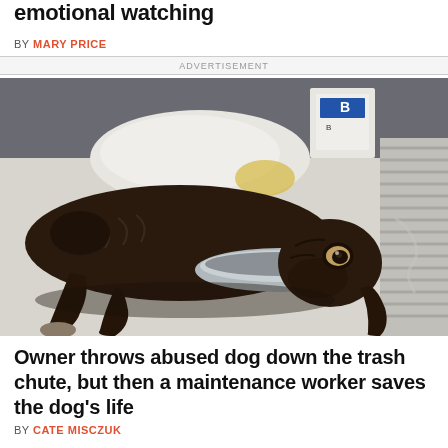emotional watching
BY MARY PRICE
ADVERTISEMENT
[Figure (photo): A severely emaciated dark brown dog lying on white towels/blankets in what appears to be a veterinary setting, with a metal bowl nearby. The dog appears very thin with visible ribs and protruding bones.]
Owner throws abused dog down the trash chute, but then a maintenance worker saves the dog's life
BY CATE MISCZUK